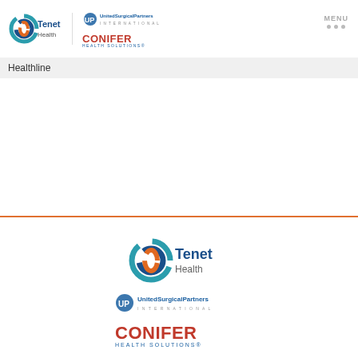[Figure (logo): Tenet Health logo, United Surgical Partners International logo, and Conifer Health Solutions logo in header navigation bar]
MENU
Healthline
[Figure (logo): Tenet Health logo centered]
[Figure (logo): United Surgical Partners International logo centered]
[Figure (logo): Conifer Health Solutions logo centered]